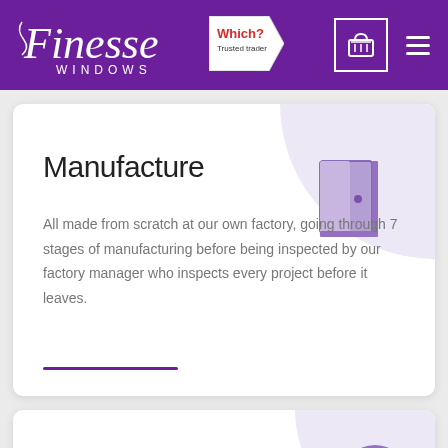Finesse Windows — Which? Trusted Trader
Manufacture
All made from scratch at our own factory, going through 7 stages of manufacturing before being inspected by our factory manager who inspects every project before it leaves.
[Figure (illustration): Stylized purple door icon on a light purple circular background]
Components Check
[Figure (illustration): Purple clock icon on a purple circular background]
Covid-19 Update